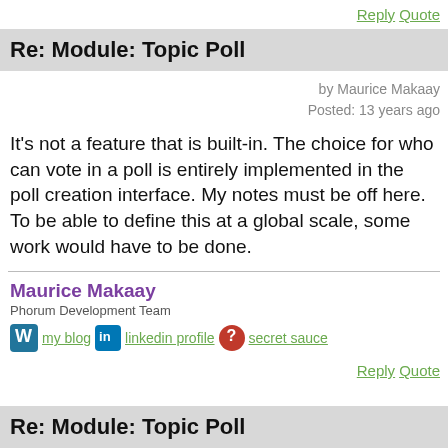Reply  Quote
Re: Module: Topic Poll
by Maurice Makaay
Posted: 13 years ago
It's not a feature that is built-in. The choice for who can vote in a poll is entirely implemented in the poll creation interface. My notes must be off here. To be able to define this at a global scale, some work would have to be done.
Maurice Makaay
Phorum Development Team
my blog  linkedin profile  secret sauce
Reply  Quote
Re: Module: Topic Poll